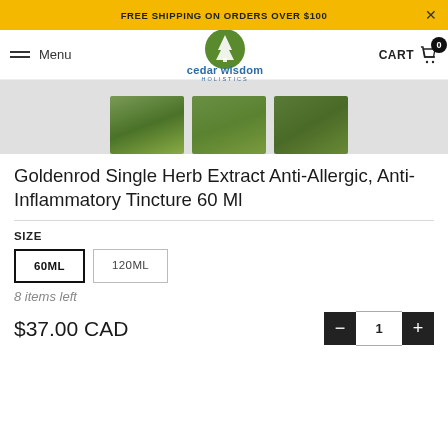FREE SHIPPING ON ORDERS OVER $100
[Figure (logo): Cedar Wisdom Holistics logo — green oval with pine tree, text 'cedar wisdom HOLISTICS']
[Figure (photo): Product image strip showing three partial thumbnail images of goldenrod herb]
Goldenrod Single Herb Extract Anti-Allergic, Anti-Inflammatory Tincture 60 Ml
SIZE
60ML
120ML
8 items left
$37.00 CAD